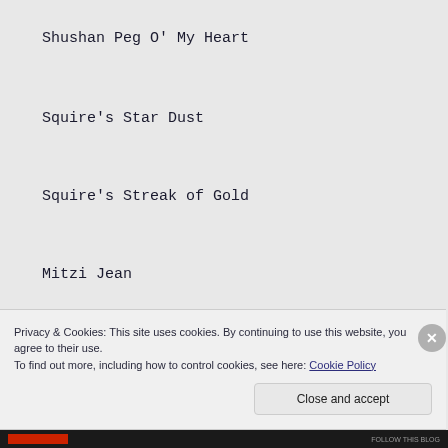Shushan Peg O' My Heart
Squire's Star Dust
Squire's Streak of Gold
Mitzi Jean
Thane's Vanda
Privacy & Cookies: This site uses cookies. By continuing to use this website, you agree to their use.
To find out more, including how to control cookies, see here: Cookie Policy
Close and accept